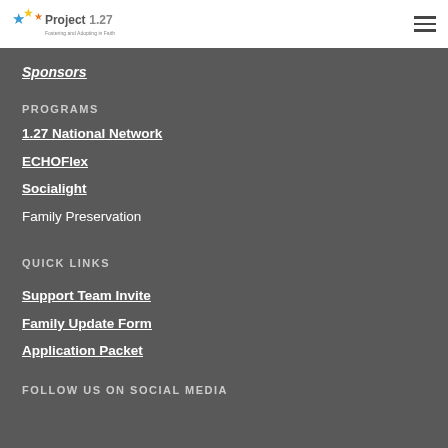Project 1.27 — Fostering and Adopting in Faith
Sponsors
PROGRAMS
1.27 National Network
ECHOFlex
Socialight
Family Preservation
QUICK LINKS
Support Team Invite
Family Update Form
Application Packet
FOLLOW US ON SOCIAL MEDIA